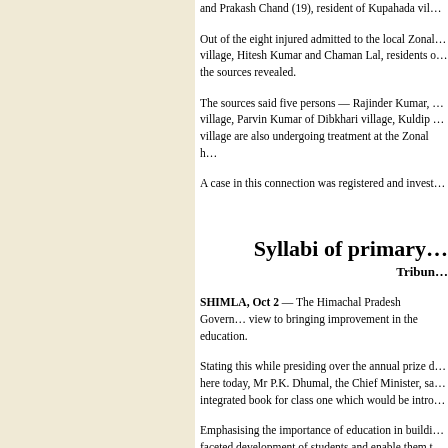and Prakash Chand (19), resident of Kupahada vil…
Out of the eight injured admitted to the local Zonal… village, Hitesh Kumar and Chaman Lal, residents o… the sources revealed.
The sources said five persons — Rajinder Kumar, … village, Parvin Kumar of Dibkhari village, Kuldip … village are also undergoing treatment at the Zonal h…
A case in this connection was registered and invest…
Syllabi of primary…
Tribune…
SHIMLA, Oct 2 — The Himachal Pradesh Govern… view to bringing improvement in the education.
Stating this while presiding over the annual prize d… here today, Mr P.K. Dhumal, the Chief Minister, sa… integrated book for class one which would be intro…
Emphasising the importance of education in buildi… faceted development of students and enable them t…
He said need of the hour was to re-write the history…